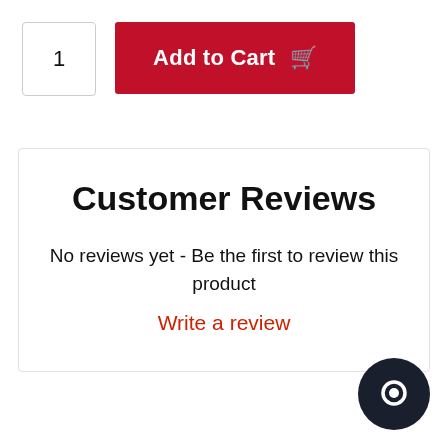1
Add to Cart
Customer Reviews
No reviews yet - Be the first to review this product
Write a review
[Figure (illustration): Chat bubble icon, dark navy circle with white message bubble inside, positioned bottom right corner]